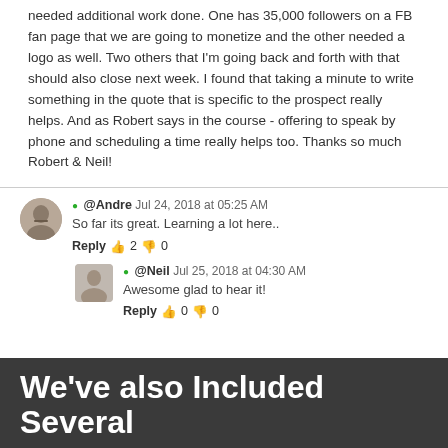needed additional work done. One has 35,000 followers on a FB fan page that we are going to monetize and the other needed a logo as well. Two others that I'm going back and forth with that should also close next week. I found that taking a minute to write something in the quote that is specific to the prospect really helps. And as Robert says in the course - offering to speak by phone and scheduling a time really helps too. Thanks so much Robert & Neil!
@Andre Jul 24, 2018 at 05:25 AM
So far its great. Learning a lot here..
Reply 👍 2 👎 0
@Neil Jul 25, 2018 at 04:30 AM
Awesome glad to hear it!
Reply 👍 0 👎 0
We've also Included Several